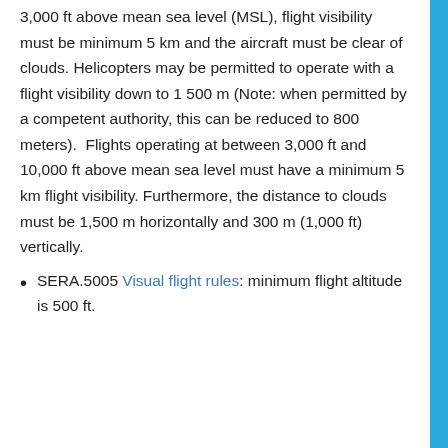3,000 ft above mean sea level (MSL), flight visibility must be minimum 5 km and the aircraft must be clear of clouds. Helicopters may be permitted to operate with a flight visibility down to 1 500 m (Note: when permitted by a competent authority, this can be reduced to 800 meters).  Flights operating at between 3,000 ft and 10,000 ft above mean sea level must have a minimum 5 km flight visibility. Furthermore, the distance to clouds must be 1,500 m horizontally and 300 m (1,000 ft) vertically.
SERA.5005 Visual flight rules: minimum flight altitude is 500 ft.